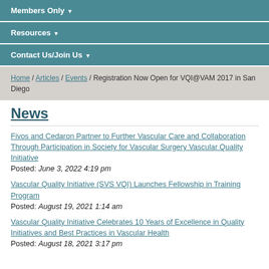Members Only
Resources
Contact Us/Join Us
Home / Articles / Events / Registration Now Open for VQI@VAM 2017 in San Diego
News
Fivos and Cedaron Partner to Further Vascular Care and Collaboration Through Participation in Society for Vascular Surgery Vascular Quality Initiative
Posted: June 3, 2022 4:19 pm
Vascular Quality Initiative (SVS VQI) Launches Fellowship in Training Program
Posted: August 19, 2021 1:14 am
Vascular Quality Initiative Celebrates 10 Years of Excellence in Quality Initiatives and Best Practices in Vascular Health
Posted: August 18, 2021 3:17 pm